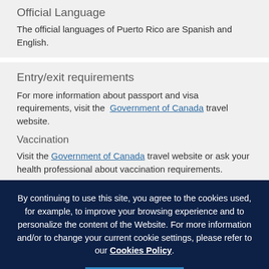Official Language
The official languages of Puerto Rico are Spanish and English.
Entry/exit requirements
For more information about passport and visa requirements, visit the Government of Canada travel website.
Vaccination
Visit the Government of Canada travel website or ask your health professional about vaccination requirements.
By continuing to use this site, you agree to the cookies used, for example, to improve your browsing experience and to personalize the content of the Website. For more information and/or to change your current cookie settings, please refer to our Cookies Policy.
I accept